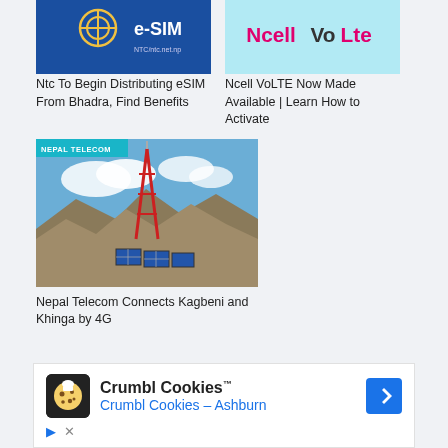[Figure (photo): Blue background image with e-SIM text and NTC logo]
Ntc To Begin Distributing eSIM From Bhadra, Find Benefits
[Figure (photo): Light blue background with Ncell and VoLte logos]
Ncell VoLTE Now Made Available | Learn How to Activate
[Figure (photo): Nepal Telecom tower with solar panels in mountainous landscape with blue sky and clouds. Badge reads NEPAL TELECOM.]
Nepal Telecom Connects Kagbeni and Khinga by 4G
[Figure (other): Crumbl Cookies advertisement banner with cookie logo, text Crumbl Cookies and Crumbl Cookies - Ashburn, navigation arrow icon, play and close icons]